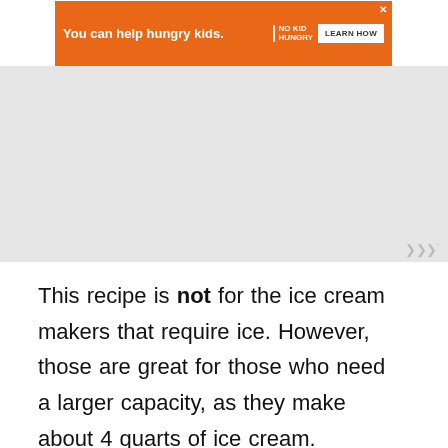[Figure (other): Orange advertisement banner: 'You can help hungry kids.' with No Kid Hungry logo and 'LEARN HOW' button]
[Figure (other): Gray placeholder area for an embedded widget or media]
This recipe is not for the ice cream makers that require ice. However, those are great for those who need a larger capacity, as they make about 4 quarts of ice cream.
You can also use an ice cream bowl
[Figure (other): Bottom advertisement banner with dark background: 'SHE CAN STEM']